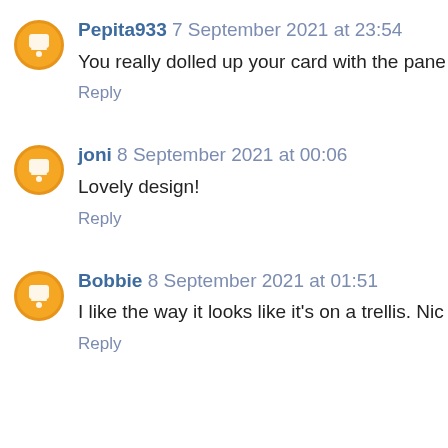Pepita933 7 September 2021 at 23:54
You really dolled up your card with the pane b
Reply
joni 8 September 2021 at 00:06
Lovely design!
Reply
Bobbie 8 September 2021 at 01:51
I like the way it looks like it’s on a trellis. Nic
Reply